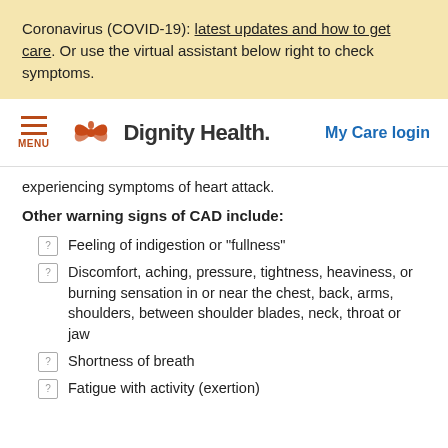Coronavirus (COVID-19): latest updates and how to get care. Or use the virtual assistant below right to check symptoms.
[Figure (logo): Dignity Health logo with stylized butterfly/flower icon in orange-red and the text 'Dignity Health.' in dark gray. Left side shows hamburger menu icon with 'MENU' label in orange-red. Right side shows 'My Care login' in blue.]
experiencing symptoms of heart attack.
Other warning signs of CAD include:
Feeling of indigestion or "fullness"
Discomfort, aching, pressure, tightness, heaviness, or burning sensation in or near the chest, back, arms, shoulders, between shoulder blades, neck, throat or jaw
Shortness of breath
Fatigue with activity (exertion)